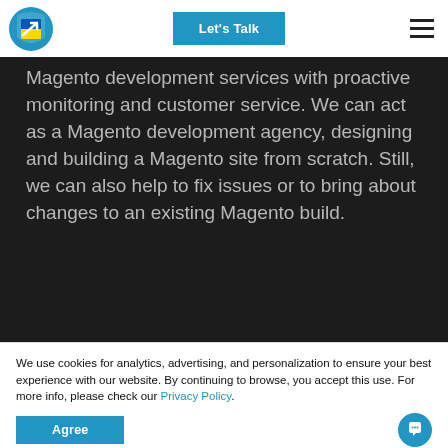Let's Talk
Magento development services with proactive monitoring and customer service. We can act as a Magento development agency, designing and building a Magento site from scratch. Still, we can also help to fix issues or to bring about changes to an existing Magento build.
We use cookies for analytics, advertising, and personalization to ensure your best experience with our website. By continuing to browse, you accept this use. For more info, please check our Privacy Policy.